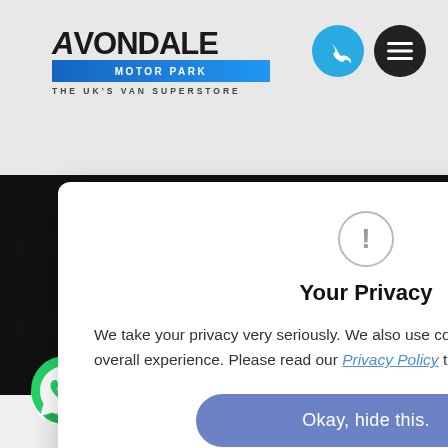[Figure (logo): Avondale Motor Park logo with blue gradient bar and tagline THE UK'S VAN SUPERSTORE]
[Figure (illustration): Cyan phone call button circle and dark hamburger menu button circle in top right]
[Figure (illustration): Dark banner background with large A pattern watermarks and blue bordered box showing times 7:30, 5:00, SED]
Your Privacy
We take your privacy very seriously. We also use cookies to improve your overall experience. Please read our Privacy Policy to learn more
[Figure (illustration): Blue rounded rectangle button labeled Okay, hide this.]
[Figure (illustration): Green WhatsApp icon bottom left and cyan scroll-to-top arrow button]
Park
8976081
nnology